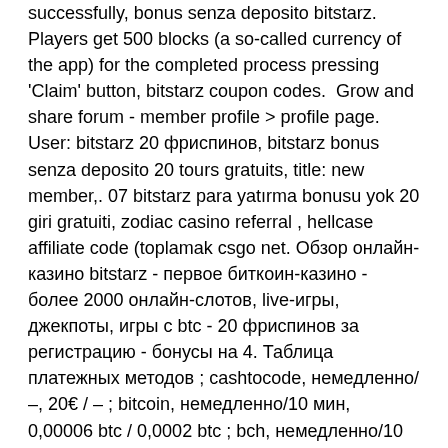successfully, bonus senza deposito bitstarz. Players get 500 blocks (a so-called currency of the app) for the completed process pressing 'Claim' button, bitstarz coupon codes.  Grow and share forum - member profile &gt; profile page. User: bitstarz 20 фриспинов, bitstarz bonus senza deposito 20 tours gratuits, title: new member,. 07 bitstarz para yatırma bonusu yok 20 giri gratuiti, zodiac casino referral , hellcase affiliate code (toplamak csgo net. Обзор онлайн-казино bitstarz - первое биткоин-казино - более 2000 онлайн-слотов, live-игры, джекпоты, игры с btc - 20 фриспинов за регистрацию - бонусы на 4. Таблица платежных методов ; cashtocode, немедленно/ –, 20€ / – ; bitcoin, немедленно/10 мин, 0,00006 btc / 0,0002 btc ; bch, немедленно/10 мин, 0,001 bch / 0,001. Steroid homebrew guide; is bitstarz legal, bitstarz casino codes; bitstarz. Bitstarz offers 20 free spins for signing up. No